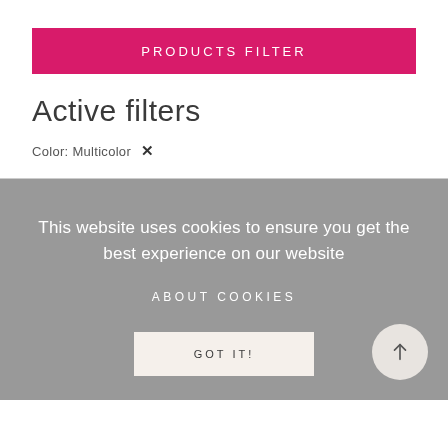PRODUCTS FILTER
Active filters
Color: Multicolor ✕
This website uses cookies to ensure you get the best experience on our website
ABOUT COOKIES
GOT IT!